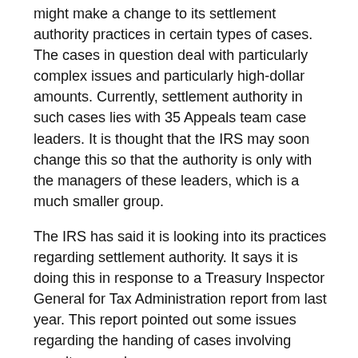might make a change to its settlement authority practices in certain types of cases. The cases in question deal with particularly complex issues and particularly high-dollar amounts. Currently, settlement authority in such cases lies with 35 Appeals team case leaders. It is thought that the IRS may soon change this so that the authority is only with the managers of these leaders, which is a much smaller group.
The IRS has said it is looking into its practices regarding settlement authority. It says it is doing this in response to a Treasury Inspector General for Tax Administration report from last year. This report pointed out some issues regarding the handing of cases involving penalty appeals.
Some worry that if the speculated change does happen, it will have negative affects in the appeals process. One concern some have leveled is that the change could lead to bottlenecks in the process and delays in settlements.
One wonders if the speculated change will occur. If it does, one wonders if it will lead to any further or wider-ranging changes in settlement authority practices by IRS Appeals.